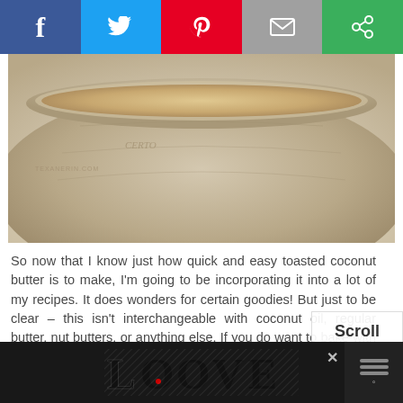[Figure (screenshot): Social share bar with Facebook, Twitter, Pinterest, Email, and Share buttons at the top of the page]
[Figure (photo): Close-up photo of a jar of toasted coconut butter, beige/tan colored, with watermark text 'TEXANERIN.COM' visible]
So now that I know just how quick and easy toasted coconut butter is to make, I'm going to be incorporating it into a lot of my recipes. It does wonders for certain goodies! But just to be clear – this isn't interchangeable with coconut oil, regular butter, nut butters, or anything else. If you do want to bake with it, look for recipes that specifically call for coconut butter, like these!
[Figure (screenshot): Scroll to top button overlay on the right side]
[Figure (screenshot): Advertisement banner at the bottom showing decorative 'LOOVE' text in ornate black lettering on dark background with a close button]